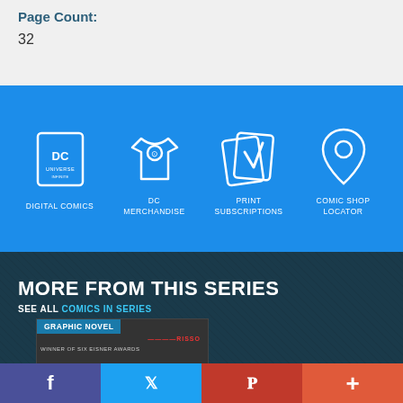Page Count:
32
[Figure (infographic): Blue banner with four white icon buttons: Digital Comics (DC Universe logo), DC Merchandise (t-shirt icon), Print Subscriptions (cards/lightning icon), Comic Shop Locator (map pin icon)]
MORE FROM THIS SERIES
SEE ALL COMICS IN SERIES
[Figure (photo): Graphic Novel book cover for 100 Bullets with RISSO credit, black and white imagery]
[Figure (infographic): Social media share footer bar with Facebook, Twitter, Pinterest, and plus icons]